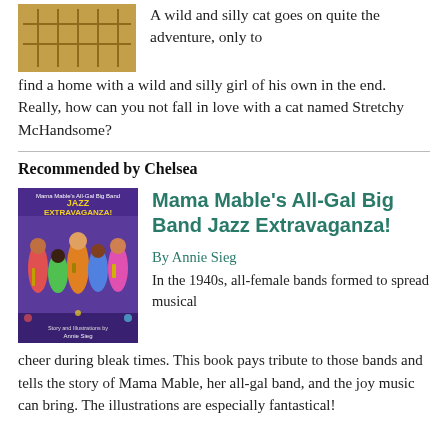[Figure (photo): Book cover thumbnail showing a cat, partially visible at top left]
A wild and silly cat goes on quite the adventure, only to find a home with a wild and silly girl of his own in the end. Really, how can you not fall in love with a cat named Stretchy McHandsome?
Recommended by Chelsea
[Figure (photo): Book cover for Mama Mable's All-Gal Big Band Jazz Extravaganza! showing colorful illustrated girls playing instruments]
Mama Mable's All-Gal Big Band Jazz Extravaganza!
By Annie Sieg
In the 1940s, all-female bands formed to spread musical cheer during bleak times. This book pays tribute to those bands and tells the story of Mama Mable, her all-gal band, and the joy music can bring. The illustrations are especially fantastical!